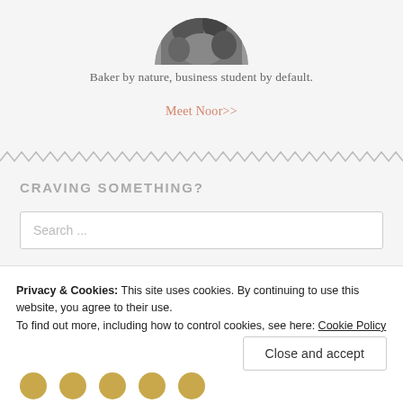[Figure (photo): Circular cropped black and white photo of a person, partially visible at top of page]
Baker by nature, business student by default.
Meet Noor>>
[Figure (other): Horizontal zigzag/wavy decorative divider line]
CRAVING SOMETHING?
Search ...
Privacy & Cookies: This site uses cookies. By continuing to use this website, you agree to their use.
To find out more, including how to control cookies, see here: Cookie Policy
Close and accept